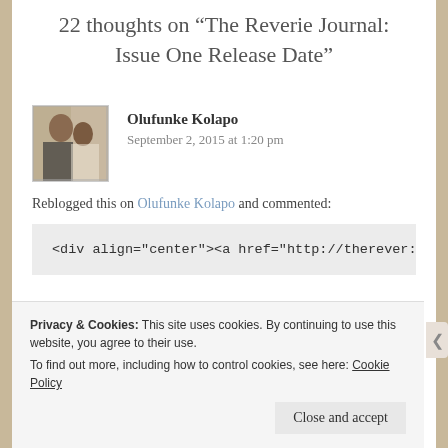22 thoughts on “The Reverie Journal: Issue One Release Date”
Olufunke Kolapo
September 2, 2015 at 1:20 pm
Reblogged this on Olufunke Kolapo and commented:
<div align="center"><a href="http://therver:
Privacy & Cookies: This site uses cookies. By continuing to use this website, you agree to their use.
To find out more, including how to control cookies, see here: Cookie Policy
Close and accept